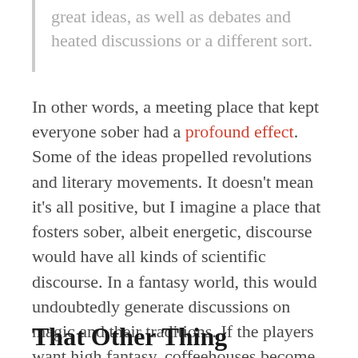great ideas, as well as debates and heated discussions or a different sort.
In other words, a meeting place that kept everyone sober had a profound effect. Some of the ideas propelled revolutions and literary movements. It doesn't mean it's all positive, but I imagine a place that fosters sober, albeit energetic, discourse would have all kinds of scientific discourse. In a fantasy world, this would undoubtedly generate discussions on magic and their traditions. If the players want high fantasy, coffeehouses become the source of a new age of magic. If they want low fantasy, it become a place of scientific progress like rudimentary steam and gunpowder.
That Other Thing